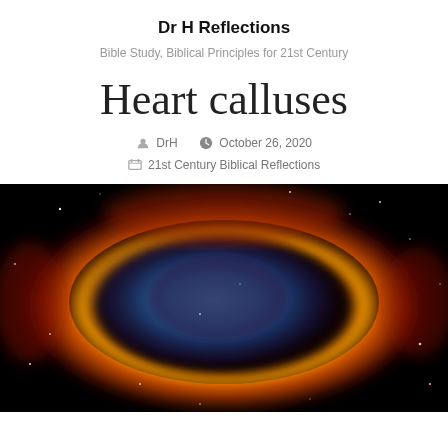Dr H Reflections
Bible Study, Biblical Principles for 21st Century
Heart calluses
DrH  October 26, 2020  21st Century Biblical Reflections
[Figure (photo): Astronomical image of the Helix Nebula (Eye of God) showing a large circular nebula with blue/purple center surrounded by orange and red glowing gas clouds against a black starfield background.]